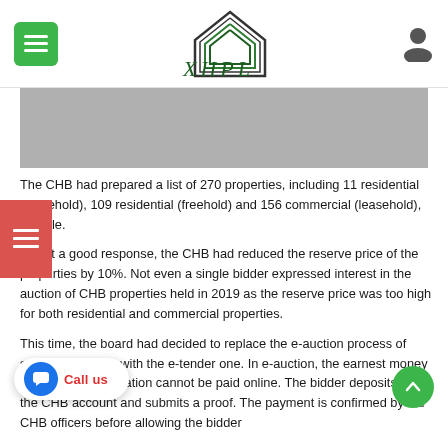XHPL navigation header with logo and menu
[Figure (photo): Gray image placeholder banner]
The CHB had prepared a list of 270 properties, including 11 residential (leasehold), 109 residential (freehold) and 156 commercial (leasehold), for sale.
To get a good response, the CHB had reduced the reserve price of the properties by 10%. Not even a single bidder expressed interest in the auction of CHB properties held in 2019 as the reserve price was too high for both residential and commercial properties.
This time, the board had decided to replace the e-auction process of selling properties with the e-tender one. In e-auction, the earnest money deposit for participation cannot be paid online. The bidder deposits it in the CHB account and submits a proof. The payment is confirmed by the CHB officers before allowing the bidder